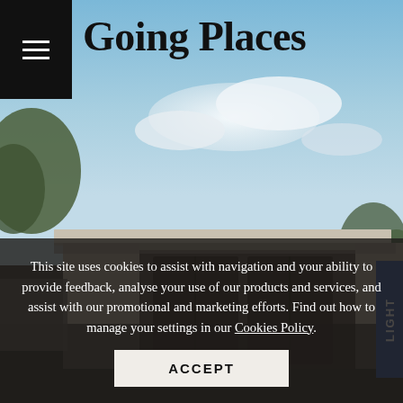[Figure (photo): Screenshot of a website called 'Going Places' showing a modern single-storey house with flat roof, large dark entrance doors, against a blue sky with clouds and trees. The page has a black hamburger menu icon in the top-left, the site title 'Going Places' in bold serif font, a blue vertical tab on the right side reading 'LIGHT', and a cookie consent overlay at the bottom.]
Going Places
This site uses cookies to assist with navigation and your ability to provide feedback, analyse your use of our products and services, and assist with our promotional and marketing efforts. Find out how to manage your settings in our Cookies Policy.
ACCEPT